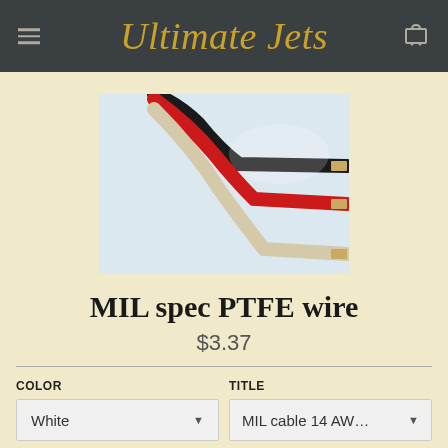Ultimate Jets
[Figure (photo): Three PTFE insulated wires (black, red, and beige/white) with stripped metallic ends, photographed on a light background]
MIL spec PTFE wire
$3.37
COLOR: White | TITLE: MIL cable 14 AWG per fo